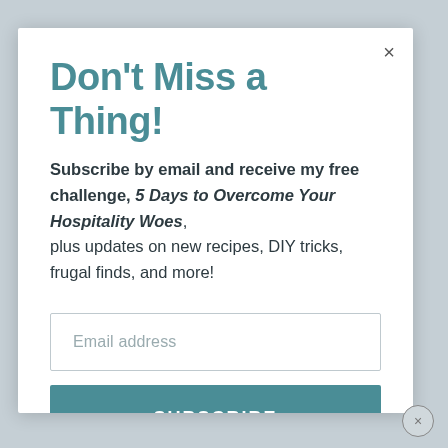Don't Miss a Thing!
Subscribe by email and receive my free challenge, 5 Days to Overcome Your Hospitality Woes, plus updates on new recipes, DIY tricks, frugal finds, and more!